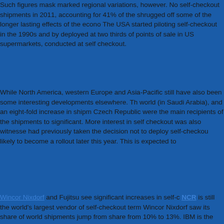Such figures mask marked regional variations, however. No self-checkout shipments in 2011, accounting for 41% of the shrugged off some of the longer lasting effects of the econo The USA started piloting self-checkout in the 1990s and by deployed at two thirds of points of sale in US supermarkets, conducted at self checkout.
While North America, western Europe and Asia-Pacific still have also been some interesting developments elsewhere. Th world (in Saudi Arabia), and an eight-fold increase in shipm Czech Republic were the main recipients of the shipments to significant. More interest in self checkout was also witnesse had previously taken the decision not to deploy self-checkou likely to become a rollout later this year. This is expected to
Wincor Nixdorf and Fujitsu see significant increases in self- NCR is still the world's largest vendor of self-checkout term Wincor Nixdorf saw its share of world shipments jump from share from 10% to 13%. IBM is the smallest of the large self
There are at least nine further vendors of self-checkout syste amounts to just 2%. Moreover, further vendors, like HB